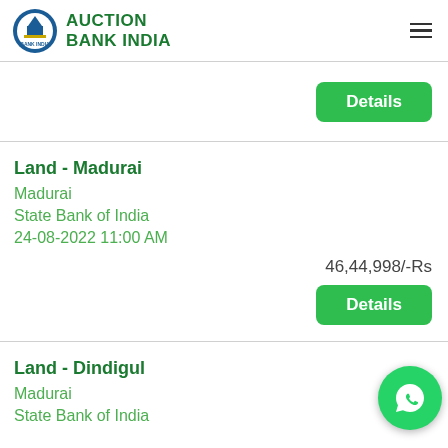AUCTION BANK INDIA
Details
Land - Madurai
Madurai
State Bank of India
24-08-2022 11:00 AM
46,44,998/-Rs
Details
Land - Dindigul
Madurai
State Bank of India